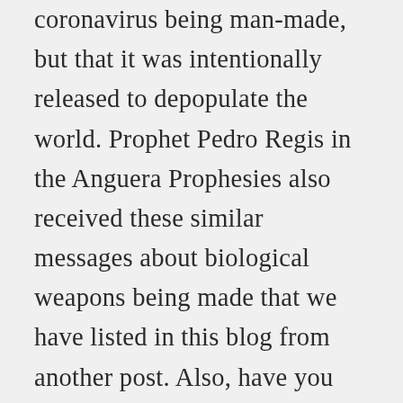coronavirus being man-made, but that it was intentionally released to depopulate the world. Prophet Pedro Regis in the Anguera Prophesies also received these similar messages about biological weapons being made that we have listed in this blog from another post. Also, have you noticed that not a lot of children are contracting this Coronavirus, but mostly elderly people and people with compromised immune systems? We do believe that the Holy Spirit is guiding us to the fact that this Coronavirus was man-made in a level 4 biological weapon manufacturing facility. It was not accidently released, but intentionally released, and it